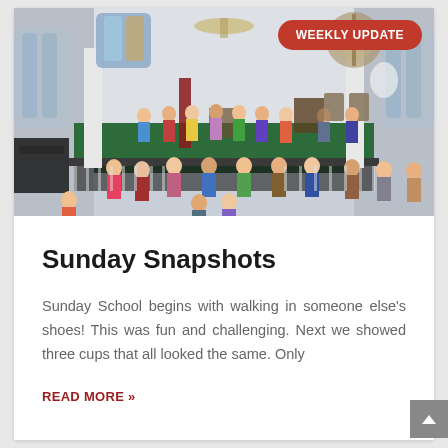[Figure (photo): Interior of a church sanctuary with children and adults gathered near the altar/stage area. White walls, stained glass windows visible, green carpet on stage, children in colorful clothing standing in groups. A red banner/flag is visible. A 'WEEKLY UPDATE' badge in red is overlaid on the top right of the image.]
Sunday Snapshots
Sunday School begins with walking in someone else's shoes! This was fun and challenging. Next we showed three cups that all looked the same. Only
READ MORE »